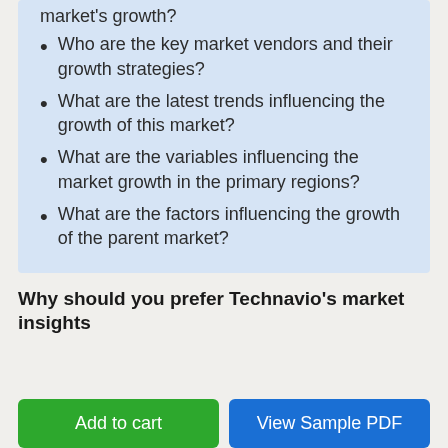market's growth?
Who are the key market vendors and their growth strategies?
What are the latest trends influencing the growth of this market?
What are the variables influencing the market growth in the primary regions?
What are the factors influencing the growth of the parent market?
Why should you prefer Technavio's market insights